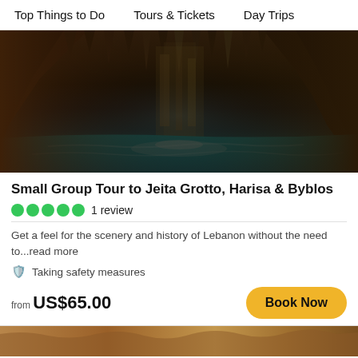Top Things to Do    Tours & Tickets    Day Trips
[Figure (photo): Interior of Jeita Grotto cave with turquoise blue underground river, stalactites and stalagmites on rocky walls lit in brown and gold tones]
Small Group Tour to Jeita Grotto, Harisa & Byblos
1 review
Get a feel for the scenery and history of Lebanon without the need to...read more
Taking safety measures
from US$65.00
Book Now
[Figure (photo): Partial view of another tour image at bottom of page, showing warm brown rocky tones]